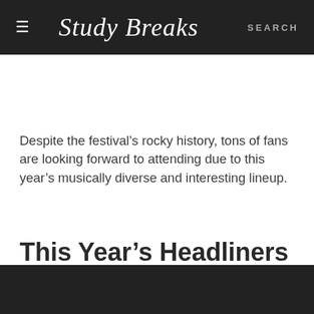Study Breaks  SEARCH
Despite the festival’s rocky history, tons of fans are looking forward to attending due to this year’s musically diverse and interesting lineup.
This Year’s Headliners Were To Be Expected But Still Exciting